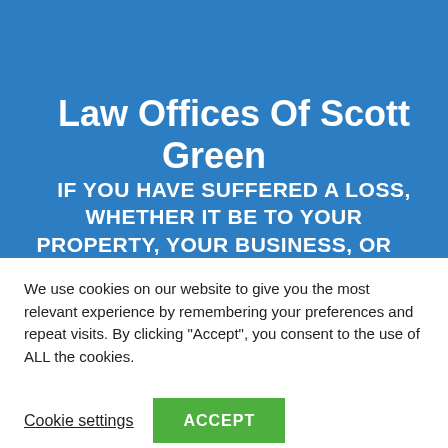Law Offices Of Scott Green
IF YOU HAVE SUFFERED A LOSS, WHETHER IT BE TO YOUR PROPERTY, YOUR BUSINESS, OR
We use cookies on our website to give you the most relevant experience by remembering your preferences and repeat visits. By clicking "Accept", you consent to the use of ALL the cookies.
Cookie settings
ACCEPT